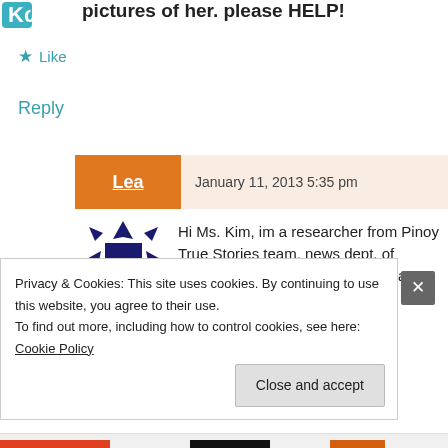pictures of her. please HELP!
★ Like
Reply
Lea  January 11, 2013 5:35 pm
[Figure (logo): Dark blue quilt-pattern avatar icon for user Lea]
Hi Ms. Kim, im a researcher from Pinoy True Stories team, news dept. of ABSCBN, i would like to ask po sana for your help regarding your
Privacy & Cookies: This site uses cookies. By continuing to use this website, you agree to their use.
To find out more, including how to control cookies, see here: Cookie Policy
Close and accept